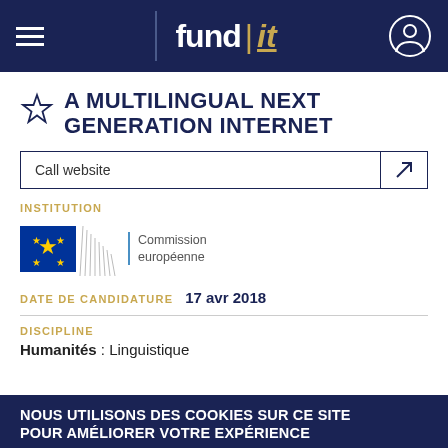fund | it
A MULTILINGUAL NEXT GENERATION INTERNET
Call website
INSTITUTION
[Figure (logo): European Commission logo with EU flag and 'Commission européenne' text]
DATE DE CANDIDATURE  17 avr 2018
DISCIPLINE
Humanités : Linguistique
NOUS UTILISONS DES COOKIES SUR CE SITE POUR AMÉLIORER VOTRE EXPÉRIENCE